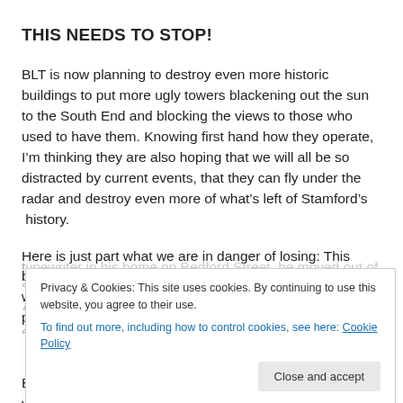THIS NEEDS TO STOP!
BLT is now planning to destroy even more historic buildings to put more ugly towers blackening out the sun to the South End and blocking the views to those who used to have them. Knowing first hand how they operate, I’m thinking they are also hoping that we will all be so distracted by current events, that they can fly under the radar and destroy even more of what’s left of Stamford’s  history.
Here is just part what we are in danger of losing: This building, the old Blickensderfer Typewriter Factory is where, after George Blickensderfer invented a new and popular portable typewheel t...
Privacy & Cookies: This site uses cookies. By continuing to use this website, you agree to their use.
To find out more, including how to control cookies, see here: Cookie Policy
Close and accept
Better yet, to see it in action, check out this YouTube video by user: